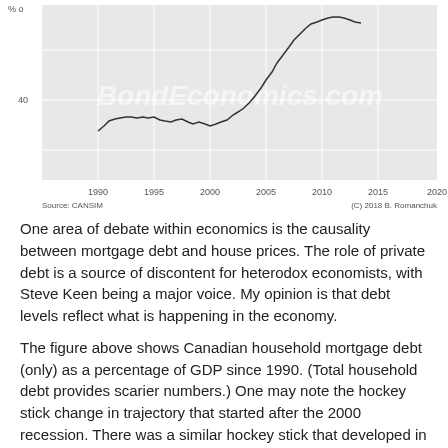[Figure (continuous-plot): Line chart showing Canadian household mortgage debt (only) as a percentage of GDP from 1990 to ~2018. The line starts around 32% in 1990, stays relatively flat around 35-38% through the late 1990s and 2000, dips slightly around 2000, then rises steeply from ~2002 onward reaching ~68% by 2016-2017, then flattens slightly. A watermark reads 'BondEconomics.com'. Source: CANSIM. (C) 2018 B. Romanchuk.]
One area of debate within economics is the causality between mortgage debt and house prices. The role of private debt is a source of discontent for heterodox economists, with Steve Keen being a major voice. My opinion is that debt levels reflect what is happening in the economy.
The figure above shows Canadian household mortgage debt (only) as a percentage of GDP since 1990. (Total household debt provides scarier numbers.) One may note the hockey stick change in trajectory that started after the 2000 recession. There was a similar hockey stick that developed in home prices at about the same time. (My writing laptop has been acting up on me, so I was not able to get the